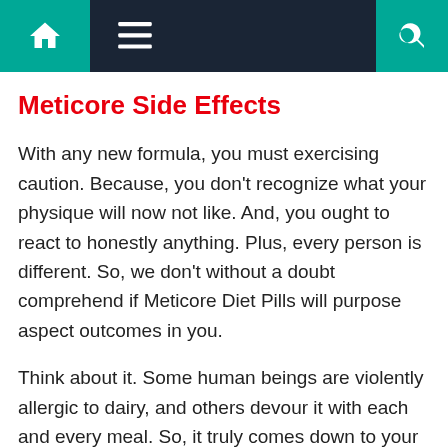Navigation bar with home, menu, and search icons
Meticore Side Effects
With any new formula, you must exercising caution. Because, you don't recognize what your physique will now not like. And, you ought to react to honestly anything. Plus, every person is different. So, we don't without a doubt comprehend if Meticore Diet Pills will purpose aspect outcomes in you.
Think about it. Some human beings are violently allergic to dairy, and others devour it with each and every meal. So, it truly comes down to your body and what it reacts against. We're no longer announcing you'll be allergic to Meticore Diet Pills, however you get our gist.